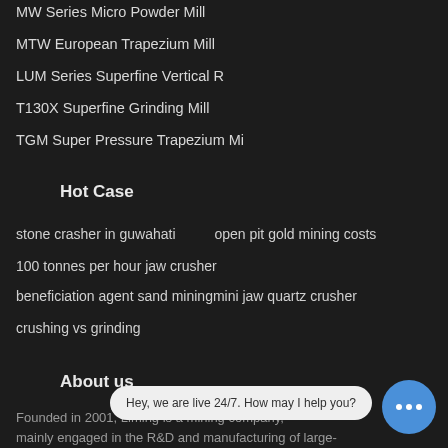MW Series Micro Powder Mill
MTW European Trapezium Mill
LUM Series Superfine Vertical R
T130X Superfine Grinding Mill
TGM Super Pressure Trapezium Mi
Hot Case
stone crasher in guwahati
open pit gold mining costs
100 tonnes per hour jaw crusher
beneficiation agent sand miningmini jaw quartz crusher
crushing vs grinding
About us
Founded in 2001, Liming is a mining company, mainly engaged in the R&D and manufacturing of large-